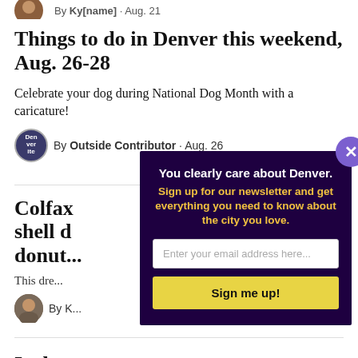By [author name] · Aug. 21
Things to do in Denver this weekend, Aug. 26-28
Celebrate your dog during National Dog Month with a caricature!
By Outside Contributor · Aug. 26
Colfax [shell d] [donut...]
This dre[...]
By K[...]
Is the [...] Place?
[Figure (infographic): Newsletter signup modal overlay with dark purple background. Header text: 'You clearly care about Denver.' Subtext in yellow: 'Sign up for our newsletter and get everything you need to know about the city you love.' Email input field and 'Sign me up!' button. Close button (X) in purple circle at top right.]